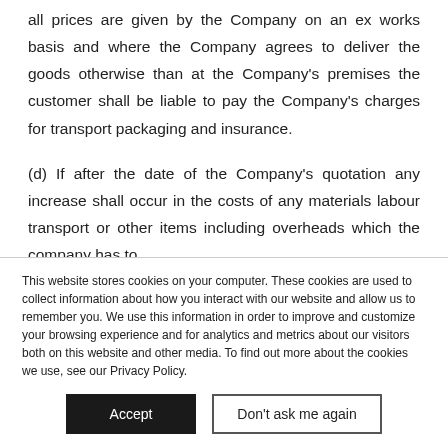all prices are given by the Company on an ex works basis and where the Company agrees to deliver the goods otherwise than at the Company's premises the customer shall be liable to pay the Company's charges for transport packaging and insurance.
(d) If after the date of the Company's quotation any increase shall occur in the costs of any materials labour transport or other items including overheads which the company has to
This website stores cookies on your computer. These cookies are used to collect information about how you interact with our website and allow us to remember you. We use this information in order to improve and customize your browsing experience and for analytics and metrics about our visitors both on this website and other media. To find out more about the cookies we use, see our Privacy Policy.